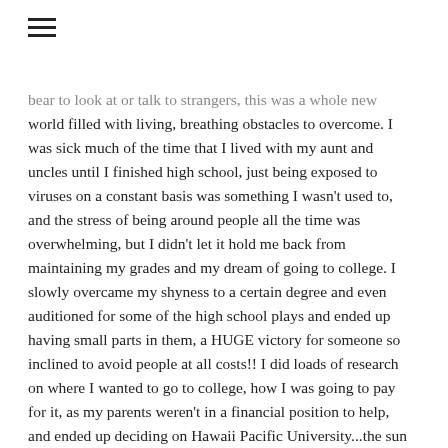bear to look at or talk to strangers, this was a whole new world filled with living, breathing obstacles to overcome.  I was sick much of the time that I lived with my aunt and uncles until I finished high school, just being exposed to viruses on a constant basis was something I wasn't used to, and the stress of being around people all the time was overwhelming, but I didn't let it hold me back from maintaining my grades and my dream of going to college.  I slowly overcame my shyness to a certain degree and even auditioned for some of the high school plays and ended up having small parts in them, a HUGE victory for someone so inclined to avoid people at all costs!! I did loads of research on where I wanted to go to college, how I was going to pay for it, as my parents weren't in a financial position to help, and ended up deciding on Hawaii Pacific University...the sun was calling my name.  I did all of the paperwork for the scholarships, student loans, admissions, housing, travel, everything all on my own; NOTHING was going to stop me from getting there, and I was determined to make it happen.